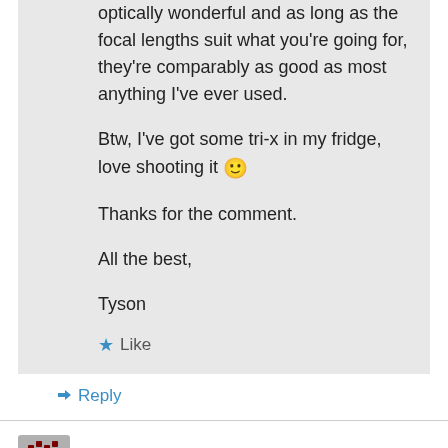optically wonderful and as long as the focal lengths suit what you're going for, they're comparably as good as most anything I've ever used.
Btw, I've got some tri-x in my fridge, love shooting it 🙂
Thanks for the comment.
All the best,
Tyson
★ Like
↳ Reply
Spencer Rokes on September 17, 2013 at 3:29 am